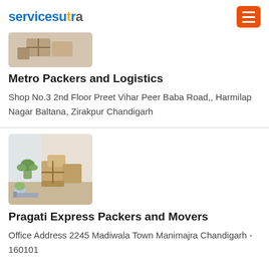servicesutra
[Figure (photo): Partial photo of moving/packing scene at top of page (cropped)]
Metro Packers and Logistics
Shop No.3 2nd Floor Preet Vihar Peer Baba Road,, Harmilap Nagar Baltana, Zirakpur Chandigarh
[Figure (photo): Photo of cardboard moving boxes with plants indoors]
Pragati Express Packers and Movers
Office Address 2245 Madiwala Town Manimajra Chandigarh - 160101